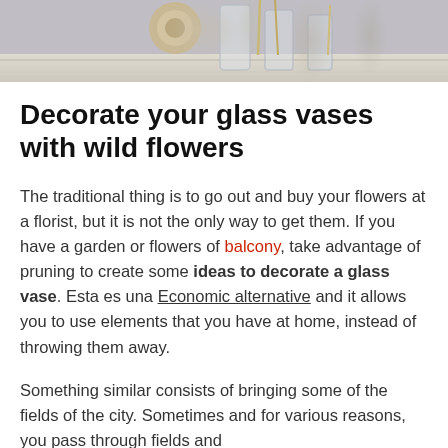[Figure (photo): Partial view of glass vases and twine spools on a white wooden surface, photo cropped at top of page]
Decorate your glass vases with wild flowers
The traditional thing is to go out and buy your flowers at a florist, but it is not the only way to get them. If you have a garden or flowers of balcony, take advantage of pruning to create some ideas to decorate a glass vase. Esta es una Economic alternative and it allows you to use elements that you have at home, instead of throwing them away.
Something similar consists of bringing some of the fields of the city. Sometimes and for various reasons, you pass through fields and